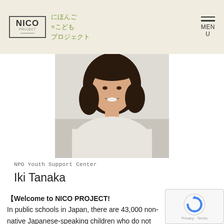NICO PROJECT にほんご×こどもプロジェクト
[Figure (photo): Portrait photo of Iki Tanaka, a woman with dark curly hair smiling, wearing a light-colored top, from waist up against a light background.]
NPO Youth Support Center
Iki Tanaka
【Welcome to NICO PROJECT!
In public schools in Japan, there are 43,000 non-native Japanese-speaking children who do not understand Japanese today. Not a small number of them do not understand teachers, cannot catch up with classes, even if